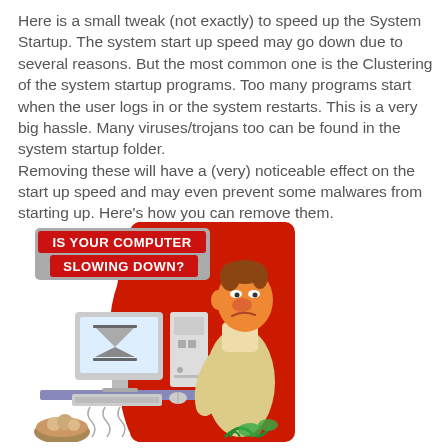Here is a small tweak (not exactly) to speed up the System Startup. The system start up speed may go down due to several reasons. But the most common one is the Clustering of the system startup programs. Too many programs start when the user logs in or the system restarts. This is a very big hassle. Many viruses/trojans too can be found in the system startup folder.
Removing these will have a (very) noticeable effect on the start up speed and may even prevent some malwares from starting up. Here’s how you can remove them.
[Figure (illustration): Cartoon illustration of a frustrated man sitting at a slow computer. Red background blob. Banner at top reads 'IS YOUR COMPUTER SLOWING DOWN?' in bold white text on red background. A desktop computer with an hourglass on screen, monitor, keyboard, mouse, and various items on a desk are visible. The man has an orange/elongated cartoon face and looks exasperated.]